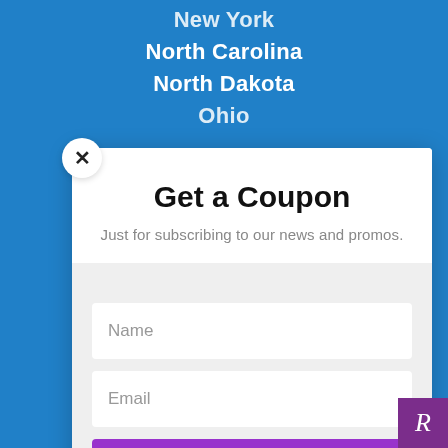New York
North Carolina
North Dakota
Ohio
Get a Coupon
Just for subscribing to our news and promos.
Name
Email
SUBSCRIBE!
By clicking "Subscribe" you agree to our Privacy Policy.